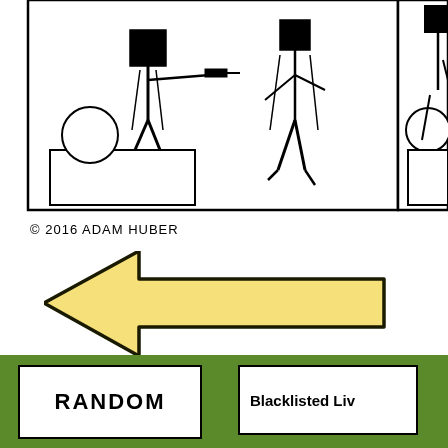[Figure (illustration): Comic strip panels showing stick figure characters in a black and white cartoon style. Left panel shows a figure at a desk pointing a gun, with another figure standing. Right panel partially visible shows similar scene with a circle object on a table.]
© 2016 ADAM HUBER
[Figure (illustration): A large left-pointing arrow filled with pale yellow color and a thick black outline, used as a navigation element.]
RANDOM
Blacklisted Liv